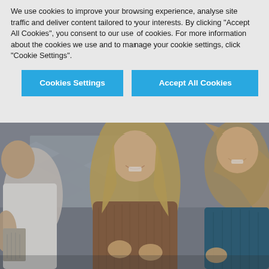We use cookies to improve your browsing experience, analyse site traffic and deliver content tailored to your interests. By clicking "Accept All Cookies", you consent to our use of cookies. For more information about the cookies we use and to manage your cookie settings, click "Cookie Settings".
Cookies Settings
Accept All Cookies
[Figure (photo): Three people in a kitchen laughing and cooking together. A man on the left in a white tank top, a woman in the center wearing a brown knit turtleneck sweater with long wavy blonde hair, and a woman on the right with long wavy hair wearing a dark teal/blue top. They appear to be using a grater or kitchen tool.]